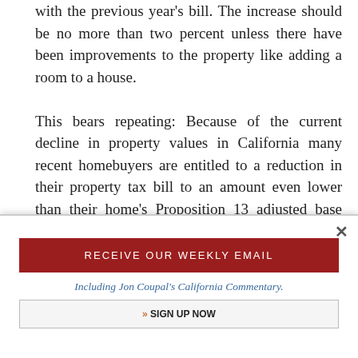with the previous year's bill. The increase should be no more than two percent unless there have been improvements to the property like adding a room to a house.

This bears repeating: Because of the current decline in property values in California many recent homebuyers are entitled to a reduction in their property tax bill to an amount even lower than their home's Proposition 13 adjusted base value. Although the reduction is temporary — taxes will
[Figure (screenshot): Email signup popup overlay with close button (×), dark red 'RECEIVE OUR WEEKLY EMAIL' button, italic blue text 'Including Jon Coupal's California Commentary.', and a 'SIGN UP NOW' button with orange arrow.]